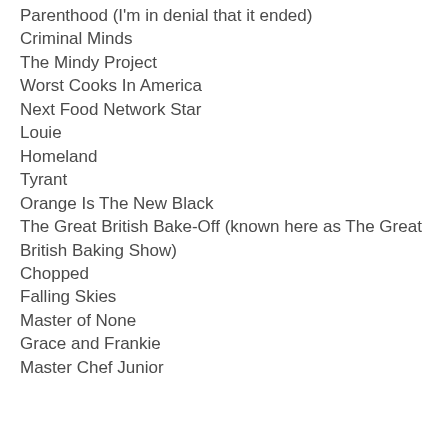Parenthood (I'm in denial that it ended)
Criminal Minds
The Mindy Project
Worst Cooks In America
Next Food Network Star
Louie
Homeland
Tyrant
Orange Is The New Black
The Great British Bake-Off (known here as The Great British Baking Show)
Chopped
Falling Skies
Master of None
Grace and Frankie
Master Chef Junior